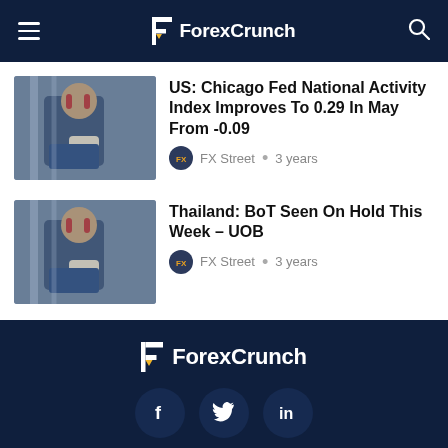ForexCrunch
US: Chicago Fed National Activity Index Improves To 0.29 In May From -0.09
FX Street • 3 years
Thailand: BoT Seen On Hold This Week – UOB
FX Street • 3 years
ForexCrunch — About   News